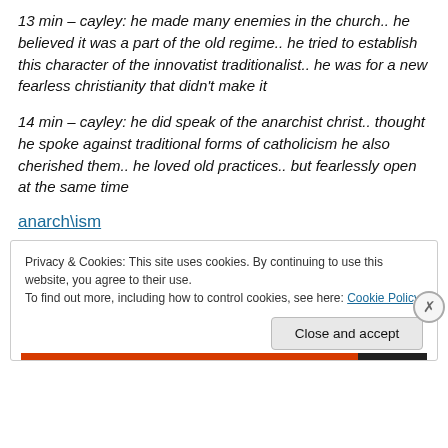13 min – cayley: he made many enemies in the church.. he believed it was a part of the old regime.. he tried to establish this character of the innovatist traditionalist.. he was for a new fearless christianity that didn't make it
14 min – cayley: he did speak of the anarchist christ.. thought he spoke against traditional forms of catholicism he also cherished them.. he loved old practices.. but fearlessly open at the same time
anarch\ism
Privacy & Cookies: This site uses cookies. By continuing to use this website, you agree to their use.
To find out more, including how to control cookies, see here: Cookie Policy
Close and accept